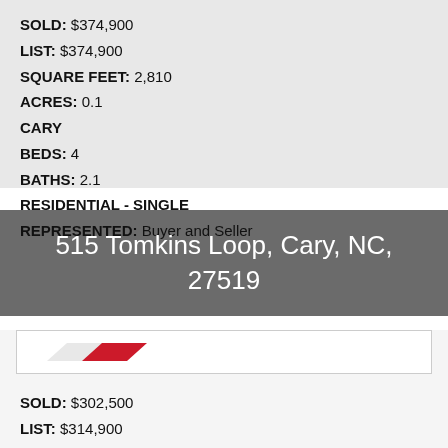SOLD: $374,900
LIST: $374,900
SQUARE FEET: 2,810
ACRES: 0.1
CARY
BEDS: 4
BATHS: 2.1
RESIDENTIAL - SINGLE
REPRESENTED: Buyer and Seller
515 Tomkins Loop, Cary, NC, 27519
[Figure (logo): Real estate agency logo with red diagonal parallelogram shape]
SOLD: $302,500
LIST: $314,900
SQUARE FEET: 1,525
ACRES: 0.1